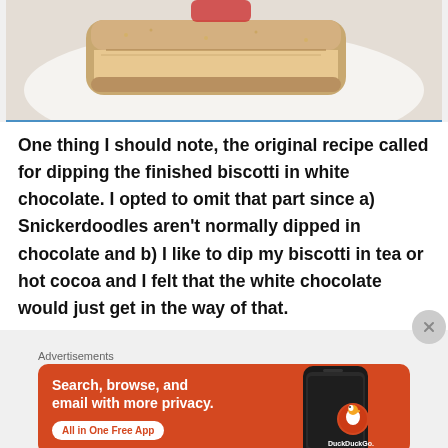[Figure (photo): Close-up photo of a biscotti piece on a white plate, showing golden-brown crust with cinnamon sugar coating]
One thing I should note, the original recipe called for dipping the finished biscotti in white chocolate. I opted to omit that part since a) Snickerdoodles aren't normally dipped in chocolate and b) I like to dip my biscotti in tea or hot cocoa and I felt that the white chocolate would just get in the way of that.
Advertisements
[Figure (screenshot): DuckDuckGo advertisement banner with orange background. Text reads: Search, browse, and email with more privacy. All in One Free App. Shows DuckDuckGo logo and phone mockup.]